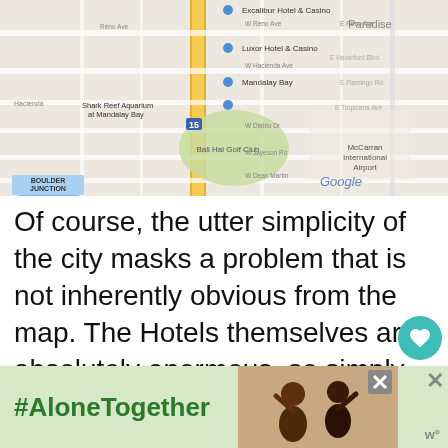[Figure (map): Google Map showing Las Vegas Strip area including Excalibur Hotel & Casino, Luxor Hotel & Casino, Mandalay Bay, Shark Reef Aquarium at Mandalay Bay, Bali Hai Golf Club, McCarran International Airport, Boulder Junction, and Paradise neighborhood.]
Of course, the utter simplicity of the city masks a problem that is not inherently obvious from the map. The Hotels themselves are absolutely enormous, so simply walking past one hotel takes quite some time. That short dense cluster of hotels is actually nearly 4miles long. This
[Figure (infographic): Ad banner with #AloneTogether text and a photo of two people waving, with close buttons.]